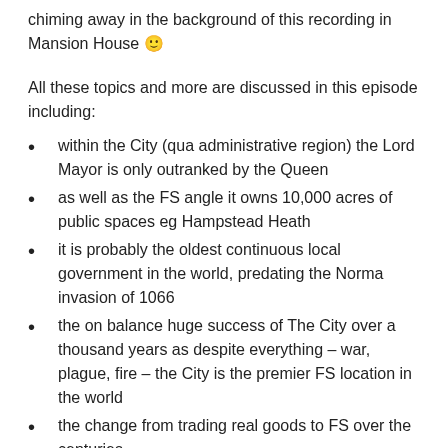chiming away in the background of this recording in Mansion House 🙂
All these topics and more are discussed in this episode including:
within the City (qua administrative region) the Lord Mayor is only outranked by the Queen
as well as the FS angle it owns 10,000 acres of public spaces eg Hampstead Heath
it is probably the oldest continuous local government in the world, predating the Norma invasion of 1066
the on balance huge success of The City over a thousand years as despite everything – war, plague, fire – the City is the premier FS location in the world
the change from trading real goods to FS over the centuries
the Square Mile is actually a rectangle and not a square mile but a square 1.12 miles 🙂